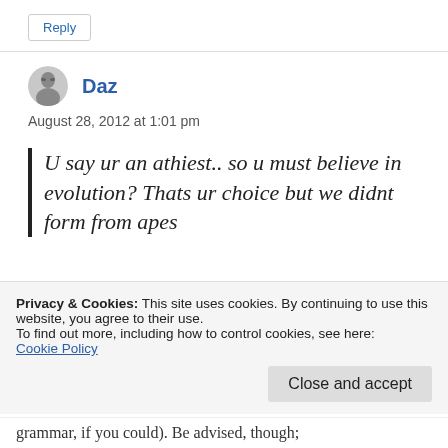Reply
Daz
August 28, 2012 at 1:01 pm
U say ur an athiest.. so u must believe in evolution? Thats ur choice but we didnt form from apes
Privacy & Cookies: This site uses cookies. By continuing to use this website, you agree to their use.
To find out more, including how to control cookies, see here:
Cookie Policy
Close and accept
grammar, if you could). Be advised, though;